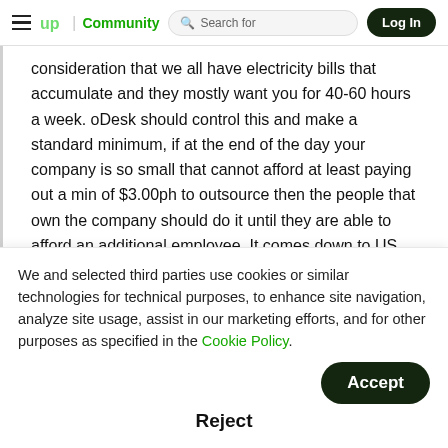≡  up | Community    🔍 Search for    Log In
consideration that we all have electricity bills that accumulate and they mostly want you for 40-60 hours a week. oDesk should control this and make a standard minimum, if at the end of the day your company is so small that cannot afford at least paying out a min of $3.00ph to outsource then the people that own the company should do it until they are able to afford an additional employee. It comes down to US too, if we don't bid on their post then they will have to increase the amount that they pay out. Those ridiculous "bids over 50 cents per hour" are just
We and selected third parties use cookies or similar technologies for technical purposes, to enhance site navigation, analyze site usage, assist in our marketing efforts, and for other purposes as specified in the Cookie Policy.
Accept
Reject